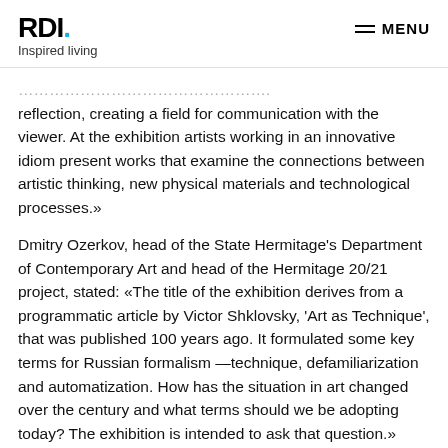RDI. Inspired living | MENU
reflection, creating a field for communication with the viewer. At the exhibition artists working in an innovative idiom present works that examine the connections between artistic thinking, new physical materials and technological processes.»
Dmitry Ozerkov, head of the State Hermitage's Department of Contemporary Art and head of the Hermitage 20/21 project, stated: «The title of the exhibition derives from a programmatic article by Victor Shklovsky, 'Art as Technique', that was published 100 years ago. It formulated some key terms for Russian formalism —technique, defamiliarization and automatization. How has the situation in art changed over the century and what terms should we be adopting today? The exhibition is intended to ask that question.»
The exhibition curators are Dmitry Ozerkov and Victoria